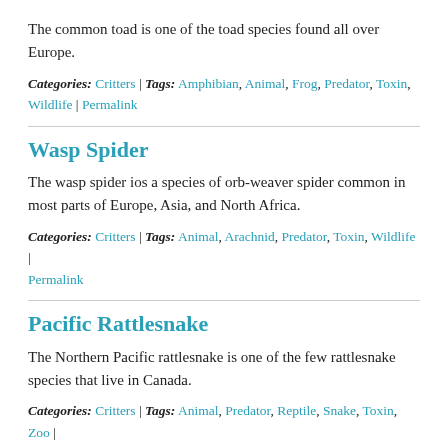The common toad is one of the toad species found all over Europe.
Categories: Critters | Tags: Amphibian, Animal, Frog, Predator, Toxin, Wildlife | Permalink
Wasp Spider
The wasp spider ios a species of orb-weaver spider common in most parts of Europe, Asia, and North Africa.
Categories: Critters | Tags: Animal, Arachnid, Predator, Toxin, Wildlife | Permalink
Pacific Rattlesnake
The Northern Pacific rattlesnake is one of the few rattlesnake species that live in Canada.
Categories: Critters | Tags: Animal, Predator, Reptile, Snake, Toxin, Zoo | Permalink
Green and Black Poison Dart Frog